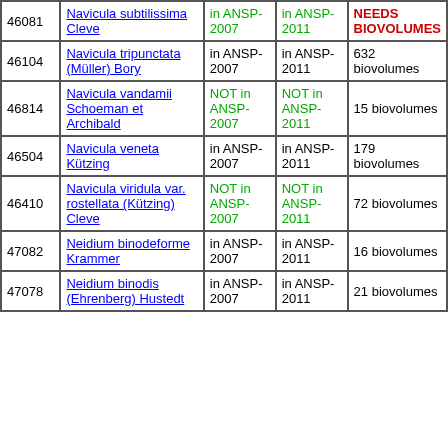| Code | Name | ANSP-2007 | ANSP-2011 | Biovolumes |
| --- | --- | --- | --- | --- |
| 46081 | Navicula subtilissima Cleve | in ANSP-2007 | in ANSP-2011 | NEEDS BIOVOLUMES |
| 46104 | Navicula tripunctata (Müller) Bory | in ANSP-2007 | in ANSP-2011 | 632 biovolumes |
| 46814 | Navicula vandamii Schoeman et Archibald | NOT in ANSP-2007 | NOT in ANSP-2011 | 15 biovolumes |
| 46504 | Navicula veneta Kützing | in ANSP-2007 | in ANSP-2011 | 179 biovolumes |
| 46410 | Navicula viridula var. rostellata (Kützing) Cleve | NOT in ANSP-2007 | NOT in ANSP-2011 | 72 biovolumes |
| 47082 | Neidium binodeforme Krammer | in ANSP-2007 | in ANSP-2011 | 16 biovolumes |
| 47078 | Neidium binodis (Ehrenberg) Hustedt | in ANSP-2007 | in ANSP-2011 | 21 biovolumes |